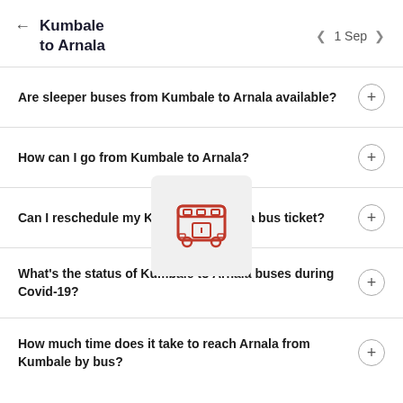Kumbale to Arnala | 1 Sep
Are sleeper buses from Kumbale to Arnala available?
How can I go from Kumbale to Arnala?
Can I reschedule my Kumbale to Arnala bus ticket?
What's the status of Kumbale to Arnala buses during Covid-19?
How much time does it take to reach Arnala from Kumbale by bus?
[Figure (illustration): Red bus icon on light grey rounded square background]